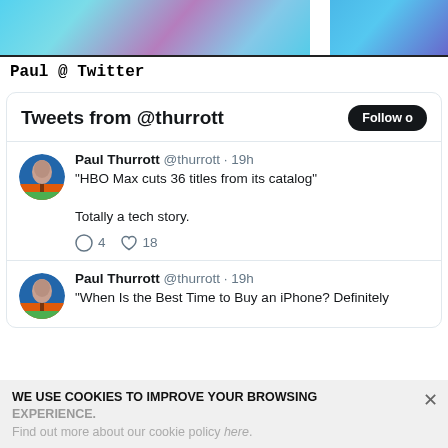[Figure (screenshot): Banner image with abstract blue and purple gradient waves, split into two sections]
Paul @ Twitter
[Figure (screenshot): Twitter widget showing tweets from @thurrott. Header: 'Tweets from @thurrott' with Follow button. Tweet 1: Paul Thurrott @thurrott · 19h — '"HBO Max cuts 36 titles from its catalog"' and 'Totally a tech story.' with 4 replies and 18 likes. Tweet 2: Paul Thurrott @thurrott · 19h — '"When Is the Best Time to Buy an iPhone? Definitely...']
WE USE COOKIES TO IMPROVE YOUR BROWSING EXPERIENCE.
Find out more about our cookie policy here.